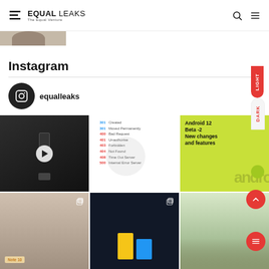EQUAL LEAKS - The Equal Venture
[Figure (screenshot): Partial cropped image strip at top]
Instagram
[Figure (screenshot): Instagram profile widget showing equalleaks username with 6 photo grid items: phone video, HTTP status codes table, Android 12 Beta 2 New changes and features, Note 10 plant photo, yellow/blue boxes on dark background, outdoor photo]
equalleaks